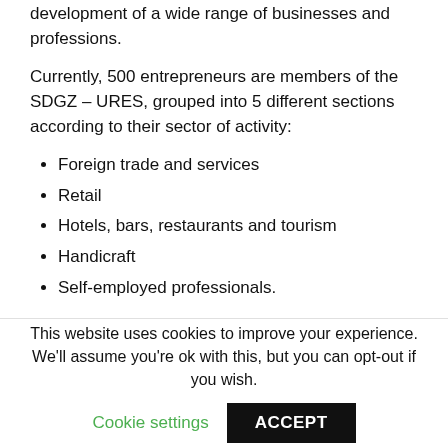development of a wide range of businesses and professions.
Currently, 500 entrepreneurs are members of the SDGZ – URES, grouped into 5 different sections according to their sector of activity:
Foreign trade and services
Retail
Hotels, bars, restaurants and tourism
Handicraft
Self-employed professionals.
In addition to representative functions, the SDGZ-URES organises training courses, promotional events, participation in fairs and provides support to members for
This website uses cookies to improve your experience. We'll assume you're ok with this, but you can opt-out if you wish.
Cookie settings | ACCEPT